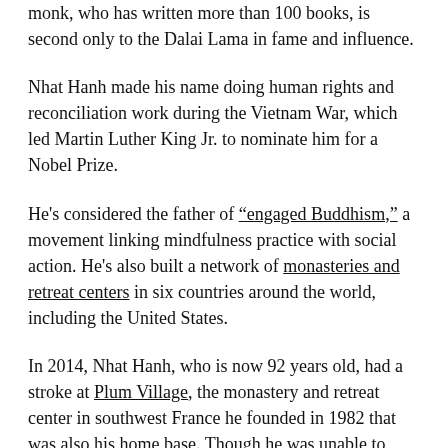monk, who has written more than 100 books, is second only to the Dalai Lama in fame and influence.
Nhat Hanh made his name doing human rights and reconciliation work during the Vietnam War, which led Martin Luther King Jr. to nominate him for a Nobel Prize.
He's considered the father of “engaged Buddhism,” a movement linking mindfulness practice with social action. He's also built a network of monasteries and retreat centers in six countries around the world, including the United States.
In 2014, Nhat Hanh, who is now 92 years old, had a stroke at Plum Village, the monastery and retreat center in southwest France he founded in 1982 that was also his home base. Though he was unable to speak after the stroke, he continued to lead the community, using his left arm and facial expressions to communicate.